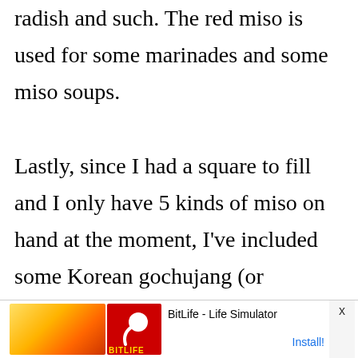radish and such. The red miso is used for some marinades and some miso soups.

Lastly, since I had a square to fill and I only have 5 kinds of miso on hand at the moment, I've included some Korean gochujang (or kochujang as it's pronounced in Japan), although it's not a miso at all. It is however a fermented soy bean paste with added
[Figure (screenshot): Advertisement banner for BitLife - Life Simulator app, showing 'Ad' label, cartoon character image, BitLife logo icon in red, app name 'BitLife - Life Simulator', and 'Install!' button link. Close button 'x' on right.]